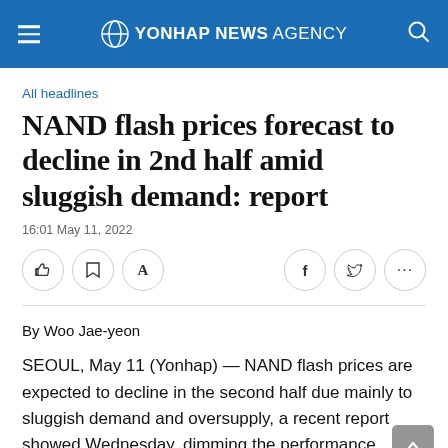YONHAP NEWS AGENCY
All headlines
NAND flash prices forecast to decline in 2nd half amid sluggish demand: report
16:01 May 11, 2022
By Woo Jae-yeon
SEOUL, May 11 (Yonhap) — NAND flash prices are expected to decline in the second half due mainly to sluggish demand and oversupply, a recent report showed Wednesday, dimming the performance